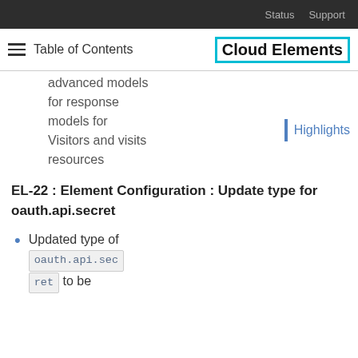Status  Support
Table of Contents  Cloud Elements
advanced models
for response
models for
Visitors and visits
resources
Highlights
EL-22 : Element Configuration : Update type for oauth.api.secret
Updated type of oauth.api.secret to be